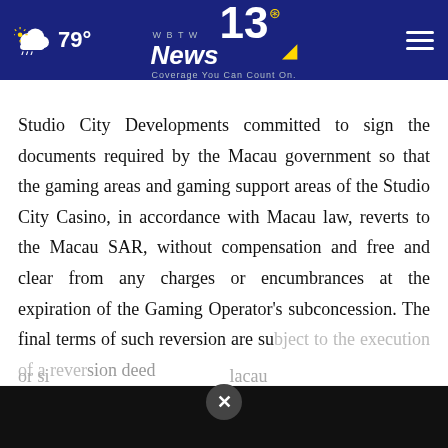79° WBTW News 13 — Coverage You Can Count On.
Studio City Developments committed to sign the documents required by the Macau government so that the gaming areas and gaming support areas of the Studio City Casino, in accordance with Macau law, reverts to the Macau SAR, without compensation and free and clear from any charges or encumbrances at the expiration of the Gaming Operator's subconcession. The final terms of such reversion are subject to the execution of a reversion deed or si[milar document required by Macau]